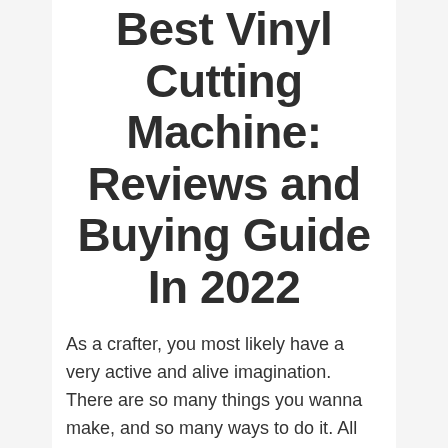Best Vinyl Cutting Machine: Reviews and Buying Guide In 2022
As a crafter, you most likely have a very active and alive imagination. There are so many things you wanna make, and so many ways to do it. All the different materials and tools and methods; so many possibilities!